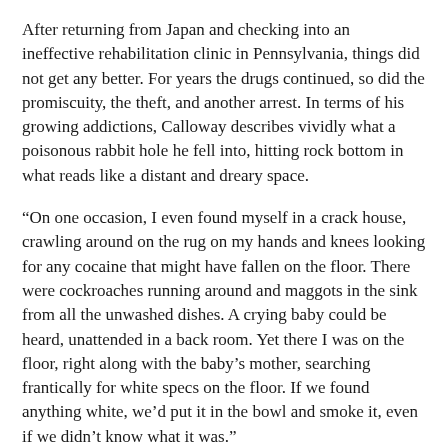After returning from Japan and checking into an ineffective rehabilitation clinic in Pennsylvania, things did not get any better. For years the drugs continued, so did the promiscuity, the theft, and another arrest. In terms of his growing addictions, Calloway describes vividly what a poisonous rabbit hole he fell into, hitting rock bottom in what reads like a distant and dreary space.
“On one occasion, I even found myself in a crack house, crawling around on the rug on my hands and knees looking for any cocaine that might have fallen on the floor. There were cockroaches running around and maggots in the sink from all the unwashed dishes. A crying baby could be heard, unattended in a back room. Yet there I was on the floor, right along with the baby’s mother, searching frantically for white specs on the floor. If we found anything white, we’d put it in the bowl and smoke it, even if we didn’t know what it was.”
So, what on earth could have turned this rebellious youth, this